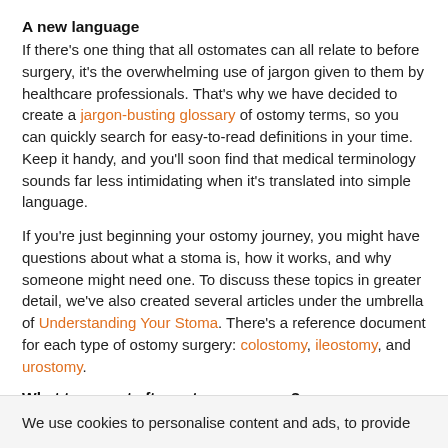A new language
If there's one thing that all ostomates can all relate to before surgery, it's the overwhelming use of jargon given to them by healthcare professionals. That's why we have decided to create a jargon-busting glossary of ostomy terms, so you can quickly search for easy-to-read definitions in your time. Keep it handy, and you'll soon find that medical terminology sounds far less intimidating when it's translated into simple language.
If you're just beginning your ostomy journey, you might have questions about what a stoma is, how it works, and why someone might need one. To discuss these topics in greater detail, we've also created several articles under the umbrella of Understanding Your Stoma. There's a reference document for each type of ostomy surgery: colostomy, ileostomy, and urostomy.
What to expect after ostomy surgery?
It’s only natural for people undergoing ostomy surgery to have questions about what will happen when they wake up. Topics might include “how to go to the bathroom”, or “when can I start to do activities again?”
Spending a few minutes running through our guide to Your First Days and Weeks with a Stoma might help alleviate any concerns you have
We use cookies to personalise content and ads, to provide